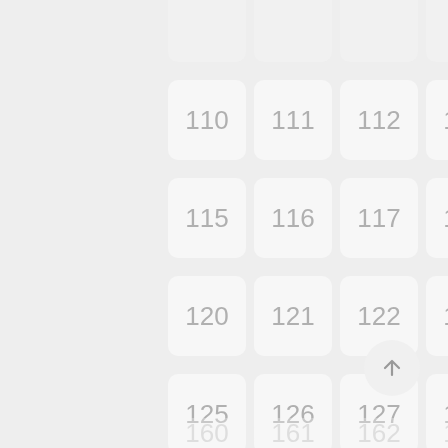[Figure (screenshot): A grid of numbered cells (rounded rectangle tiles) showing numbers 110-164 (partially visible), arranged in 5 columns. Each cell has a light gray rounded rectangle background with a gray number centered in it. A circular scroll-to-top button with an upward arrow is visible at the bottom right.]